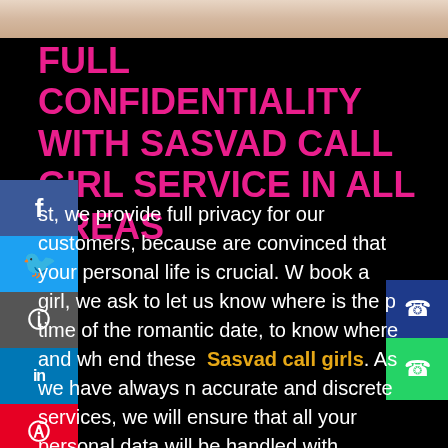[Figure (photo): Partial photo of a woman at top of page, cropped, with red border at bottom]
FULL CONFIDENTIALITY WITH SASVAD CALL GIRL SERVICE IN ALL AREAS
st, we provide full privacy for our customers, because are convinced that your personal life is crucial. W book a girl, we ask to let us know where is the p time of the romantic date, to know where and wh end these Sasvad call girls. As we have always n accurate and discrete services, we will ensure that all your personal data will be handled with maximum care. Nobody will know that you were the client of meetvipgirls ladies because we delete your personal information as soon as the girl returned to our office. In